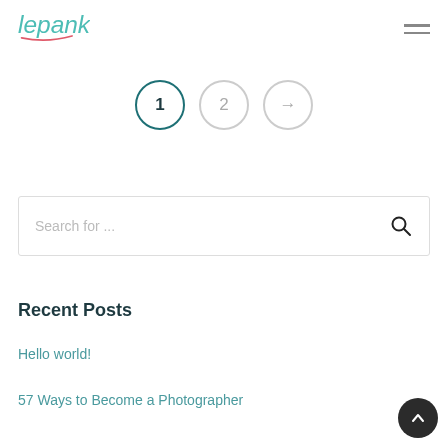lepanke
[Figure (other): Pagination controls: circle with '1' (active, teal border), circle with '2' (inactive grey), circle with right arrow (inactive grey)]
[Figure (other): Search bar with placeholder text 'Search for ...' and a magnifying glass icon on the right]
Recent Posts
Hello world!
57 Ways to Become a Photographer